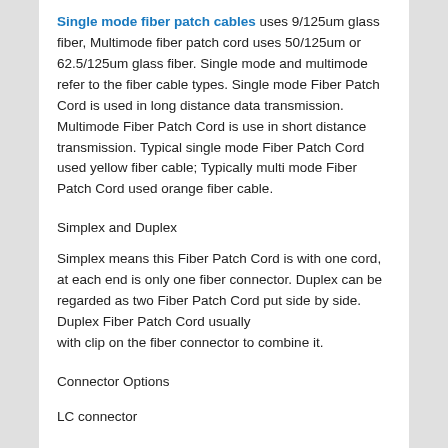Single mode fiber patch cables uses 9/125um glass fiber, Multimode fiber patch cord uses 50/125um or 62.5/125um glass fiber. Single mode and multimode refer to the fiber cable types. Single mode Fiber Patch Cord is used in long distance data transmission. Multimode Fiber Patch Cord is use in short distance transmission. Typical single mode Fiber Patch Cord used yellow fiber cable; Typically multi mode Fiber Patch Cord used orange fiber cable.
Simplex and Duplex
Simplex means this Fiber Patch Cord is with one cord, at each end is only one fiber connector. Duplex can be regarded as two Fiber Patch Cord put side by side. Duplex Fiber Patch Cord usually with clip on the fiber connector to combine it.
Connector Options
LC connector